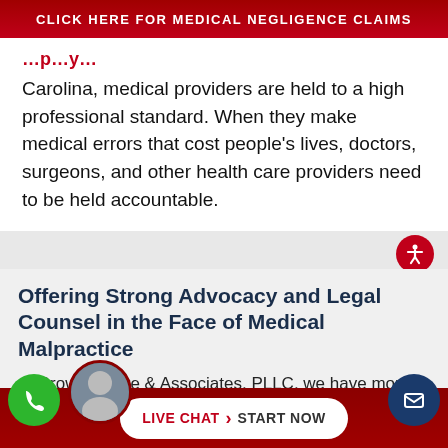CLICK HERE FOR MEDICAL NEGLIGENCE CLAIMS
Carolina, medical providers are held to a high professional standard. When they make medical errors that cost people's lives, doctors, surgeons, and other health care providers need to be held accountable.
Offering Strong Advocacy and Legal Counsel in the Face of Medical Malpractice
At Brown Moore & Associates, PLLC, we have more than 60 combined years of experience helping clients obtain compensation for their medical injuries that
[Figure (infographic): Live chat CTA bar with phone icon (green circle), email icon (dark blue circle), person photo, and Live Chat > Start Now button on dark red background]